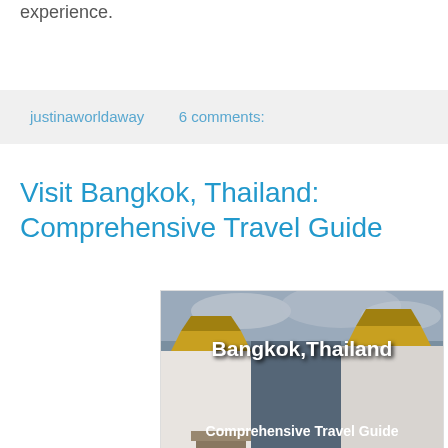experience.
justinaworldaway    6 comments:
Visit Bangkok, Thailand: Comprehensive Travel Guide
[Figure (photo): Photo of Bangkok Thailand temple with text overlay reading 'Bangkok, Thailand Comprehensive Travel Guide']